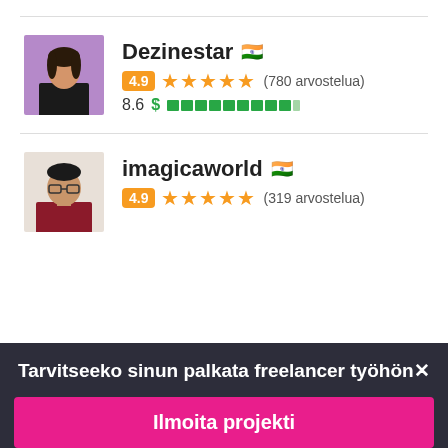[Figure (photo): Profile photo of freelancer Dezinestar, a woman in dark clothing against a purple background]
Dezinestar 🇮🇳
4.9 ★★★★★ (780 arvostelua)
8.6 $ ██████████
[Figure (photo): Profile photo of freelancer imagicaworld, a man with glasses in dark red clothing]
imagicaworld 🇮🇳
4.9 ★★★★★ (319 arvostelua)
Tarvitseeko sinun palkata freelancer työhön✕
Ilmoita projekti